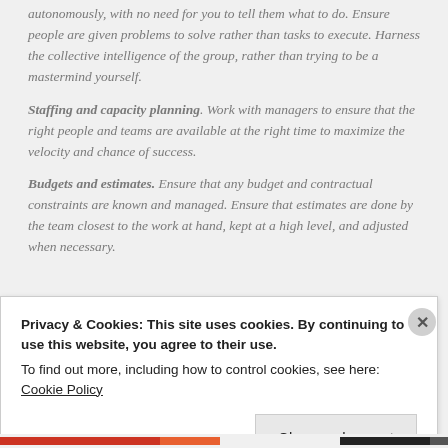autonomously, with no need for you to tell them what to do. Ensure people are given problems to solve rather than tasks to execute. Harness the collective intelligence of the group, rather than trying to be a mastermind yourself.
Staffing and capacity planning. Work with managers to ensure that the right people and teams are available at the right time to maximize the velocity and chance of success.
Budgets and estimates. Ensure that any budget and contractual constraints are known and managed. Ensure that estimates are done by the team closest to the work at hand, kept at a high level, and adjusted when necessary.
Privacy & Cookies: This site uses cookies. By continuing to use this website, you agree to their use.
To find out more, including how to control cookies, see here: Cookie Policy
Close and accept